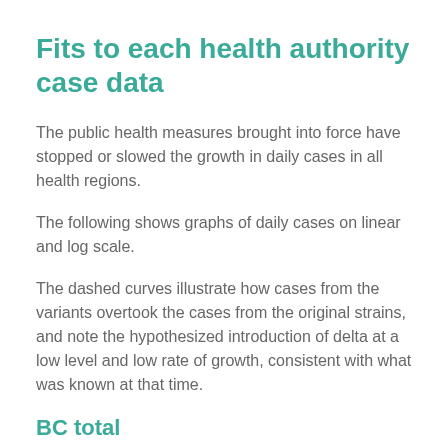Fits to each health authority case data
The public health measures brought into force have stopped or slowed the growth in daily cases in all health regions.
The following shows graphs of daily cases on linear and log scale.
The dashed curves illustrate how cases from the variants overtook the cases from the original strains, and note the hypothesized introduction of delta at a low level and low rate of growth, consistent with what was known at that time.
BC total